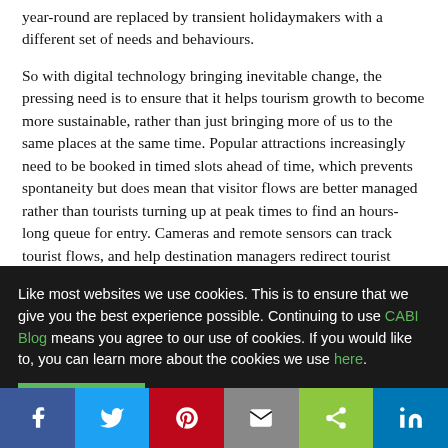year-round are replaced by transient holidaymakers with a different set of needs and behaviours.
So with digital technology bringing inevitable change, the pressing need is to ensure that it helps tourism growth to become more sustainable, rather than just bringing more of us to the same places at the same time. Popular attractions increasingly need to be booked in timed slots ahead of time, which prevents spontaneity but does mean that visitor flows are better managed rather than tourists turning up at peak times to find an hours-long queue for entry. Cameras and remote sensors can track tourist flows, and help destination managers redirect tourist groups elsewhere, and come back to
Like most websites we use cookies. This is to ensure that we give you the best experience possible. Continuing to use CABI Blog means you agree to our use of cookies. If you would like to, you can learn more about the cookies we use here.
Share bar: Facebook, Twitter, Pinterest, Email, Share, LinkedIn